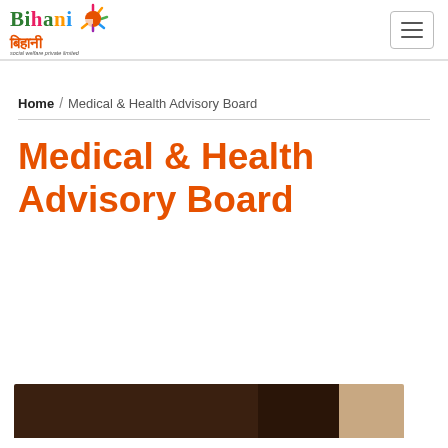[Figure (logo): Bihani logo with colorful text and sun graphic, with Hindi script 'बिहानी' below and tagline 'social welfare private limited']
Home / Medical & Health Advisory Board
Medical & Health Advisory Board
[Figure (photo): Partial photo strip at the bottom showing a group of people, dark background with a lighter beige section on the right]